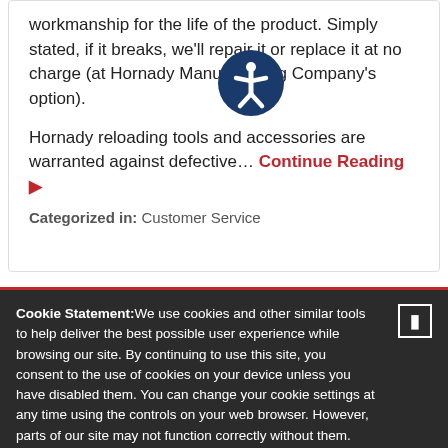workmanship for the life of the product. Simply stated, if it breaks, we'll repair it or replace it at no charge (at Hornady Manufacturing Company's option).

Hornady reloading tools and accessories are warranted against defective… Continue Reading ▶
Categorized in: Customer Service
Cookie Statement:We use cookies and other similar tools to help deliver the best possible user experience while browsing our site. By continuing to use this site, you consent to the use of cookies on your device unless you have disabled them. You can change your cookie settings at any time using the controls on your web browser. However, parts of our site may not function correctly without them.